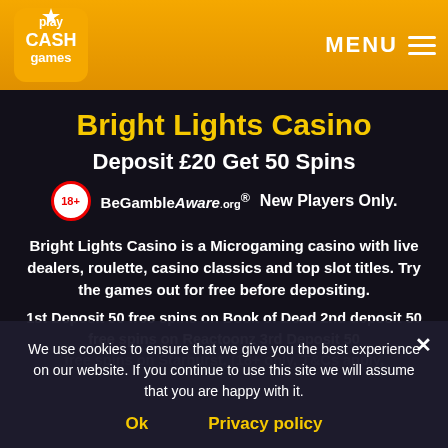PlayCashGames logo | MENU
Bright Lights Casino
Deposit £20 Get 50 Spins
18+ BeGambleAware.org  New Players Only.
Bright Lights Casino is a Microgaming casino with live dealers, roulette, casino classics and top slot titles. Try the games out for free before depositing.
1st Deposit 50 free spins on Book of Dead 2nd deposit 50 free spins on Reactoonz 3rd Deposit 50 free spins on Starburst. (18+ only, T&Cs apply,
We use cookies to ensure that we give you the best experience on our website. If you continue to use this site we will assume that you are happy with it.
Ok   Privacy policy